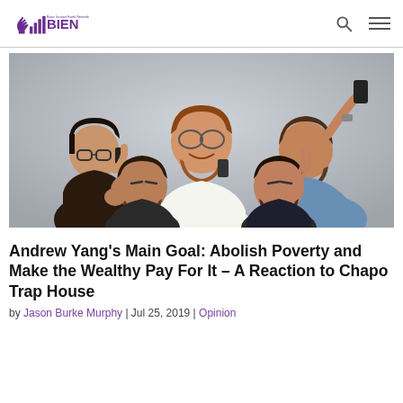[Figure (logo): BIEN (Basic Income Earth Network) logo with purple icon and text]
[Figure (photo): Group photo of five young bearded men posing casually, some holding phones, against a grey background — the Chapo Trap House podcast hosts]
Andrew Yang's Main Goal: Abolish Poverty and Make the Wealthy Pay For It – A Reaction to Chapo Trap House
by Jason Burke Murphy | Jul 25, 2019 | Opinion